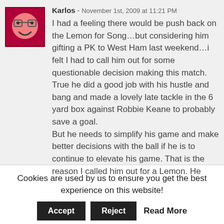[Figure (illustration): Cartoon avatar of a pink round face with glasses on a dark red background]
Karlos - November 1st, 2009 at 11:21 PM
I had a feeling there would be push back on the Lemon for Song…but considering him gifting a PK to West Ham last weekend…i felt I had to call him out for some questionable decision making this match. True he did a good job with his hustle and bang and made a lovely late tackle in the 6 yard box against Robbie Keane to probably save a goal.
But he needs to simplify his game and make better decisions with the ball if he is to continue to elevate his game. That is the reason I called him out for a Lemon. He
Cookies are used by us to ensure you get the best experience on this website!
Accept
Reject
Read More